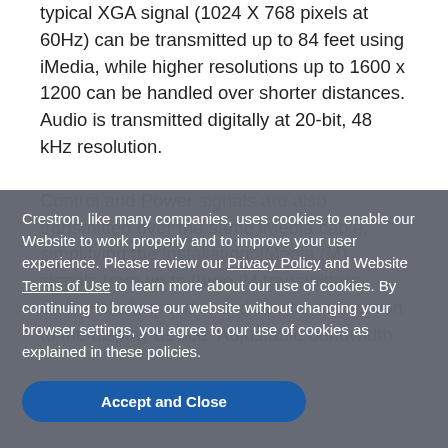typical XGA signal (1024 X 768 pixels at 60Hz) can be transmitted up to 84 feet using iMedia, while higher resolutions up to 1600 x 1200 can be handled over shorter distances. Audio is transmitted digitally at 20-bit, 48 kHz resolution.
Control and Power signals are also transmitted over the same iMedia cable, simplifying the installation. iMedia (M) signals from up to three iM transmitters, each including audio, and device connection to the display device. Adjustable bandwidth
Crestron, like many companies, uses cookies to enable our Website to work properly and to improve your user experience. Please review our Privacy Policy and Website Terms of Use to learn more about our use of cookies. By continuing to browse our website without changing your browser settings, you agree to our use of cookies as explained in these policies.
Accept and Close